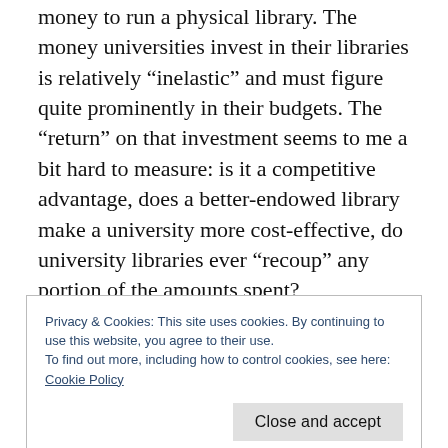money to run a physical library. The money universities invest in their libraries is relatively “inelastic” and must figure quite prominently in their budgets. The “return” on that investment seems to me a bit hard to measure: is it a competitive advantage, does a better-endowed library make a university more cost-effective, do university libraries ever “recoup” any portion of the amounts spent?
Contrast all of this with a “virtual” library. My
Privacy & Cookies: This site uses cookies. By continuing to use this website, you agree to their use.
To find out more, including how to control cookies, see here: Cookie Policy
copies of a digital text doesn’t make the